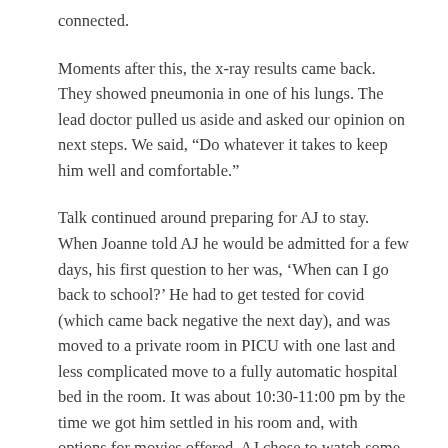connected.
Moments after this, the x-ray results came back. They showed pneumonia in one of his lungs. The lead doctor pulled us aside and asked our opinion on next steps. We said, “Do whatever it takes to keep him well and comfortable.”
Talk continued around preparing for AJ to stay. When Joanne told AJ he would be admitted for a few days, his first question to her was, ‘When can I go back to school?’ He had to get tested for covid (which came back negative the next day), and was moved to a private room in PICU with one last and less complicated move to a fully automatic hospital bed in the room. It was about 10:30-11:00 pm by the time we got him settled in his room and, with options for movies offered, AJ chose to watch some Spiderman at this late hour. I mean really, after such a crazy evening... why not settle in with some Spiderman!